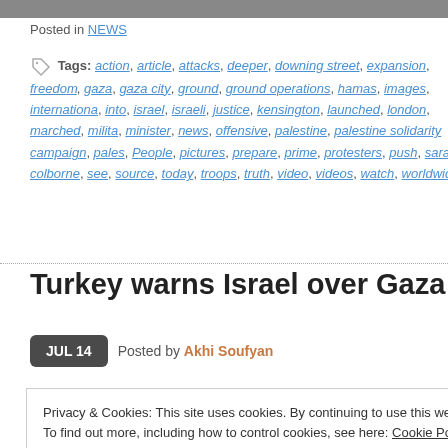[Figure (photo): Top banner image, partially visible, dark/gray tones]
Posted in NEWS
Tags: action, article, attacks, deeper, downing street, expansion, freedom, gaza, gaza city, ground, ground operations, hamas, images, international, into, israel, israeli, justice, kensington, launched, london, marched, milita, minister, news, offensive, palestine, palestine solidarity campaign, pales, People, pictures, prepare, prime, protesters, push, sarah colborne, see, source, today, troops, truth, video, videos, watch, worldwide
Turkey warns Israel over Gaza offensive
JUL 14   Posted by Akhi Soufyan
Privacy & Cookies: This site uses cookies. By continuing to use this website, you agree to their use.
To find out more, including how to control cookies, see here: Cookie Policy
Close and accept